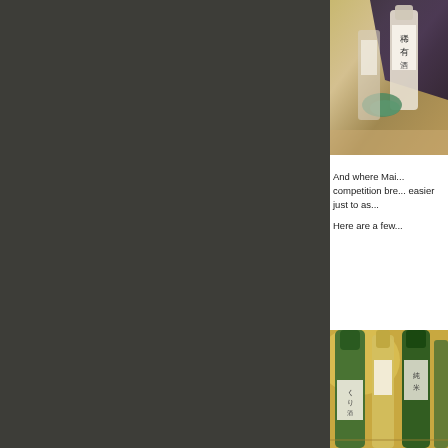[Figure (photo): Photo of sake bottles with Japanese labels, one wrapped in dark fabric with gold/green accent cloth, displayed on a wooden surface]
And where Mai... competition bre... easier just to as...
Here are a few...
[Figure (photo): Photo of multiple green and gold sake bottles on display, lit with warm ambient lighting]